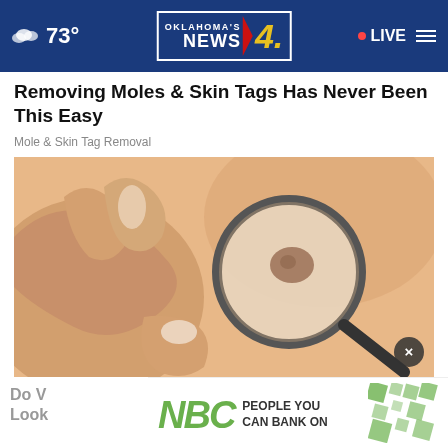73° | Oklahoma's News 4 | LIVE
Removing Moles & Skin Tags Has Never Been This Easy
Mole & Skin Tag Removal
[Figure (photo): Close-up photo of a person's skin with a mole being examined through a magnifying glass, held by a hand]
Do You... a Look!
[Figure (logo): NBC advertisement banner with NBC logo in green and text 'PEOPLE YOU CAN BANK ON' with geometric pattern]